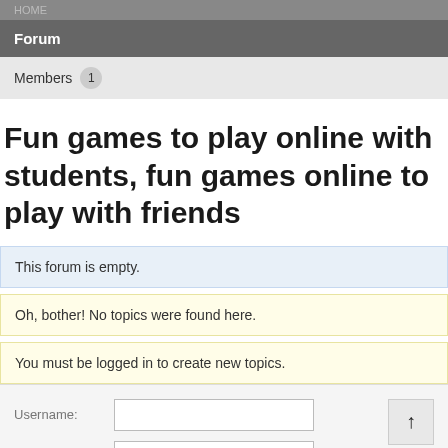HOME
Forum
Members 1
Fun games to play online with students, fun games online to play with friends
This forum is empty.
Oh, bother! No topics were found here.
You must be logged in to create new topics.
Username:
Password: